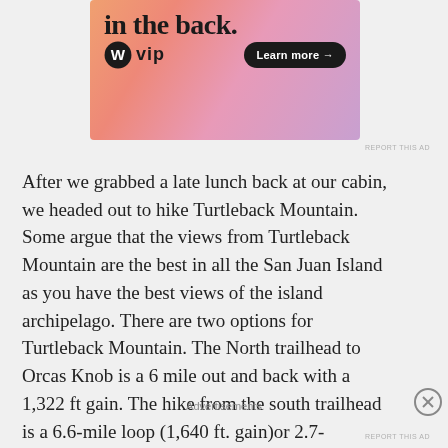[Figure (illustration): Advertisement banner for WordPress VIP with colorful gradient background (orange, pink, purple). Shows bold text 'in the back.' at top, WordPress W logo with 'vip' text at bottom left, and 'Learn more →' button at bottom right.]
After we grabbed a late lunch back at our cabin, we headed out to hike Turtleback Mountain. Some argue that the views from Turtleback Mountain are the best in all the San Juan Island as you have the best views of the island archipelago. There are two options for Turtleback Mountain. The North trailhead to Orcas Knob is a 6 mile out and back with a 1,322 ft gain. The hike from the south trailhead is a 6.6-mile loop (1,640 ft. gain)or 2.7-
Advertisements